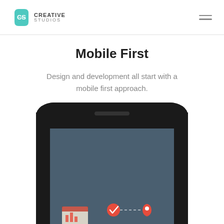Creative Studios
Mobile First
Design and development all start with a mobile first approach.
[Figure (illustration): A smartphone mockup (dark frame) with a bluish-grey screen showing a mobile app interface with icons including a calendar/chart icon, a checkmark in a circle, a map pin/location marker, and a dashed line connecting them.]